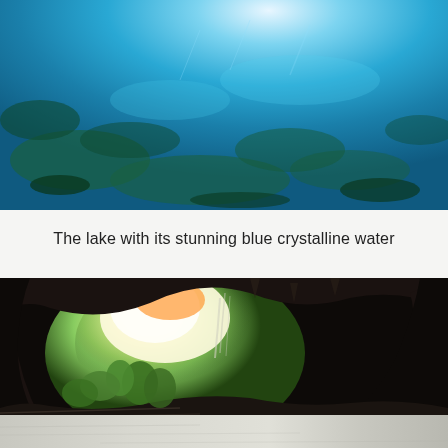[Figure (photo): Aerial or top-down view of a lake with stunning blue crystalline water, showing underwater rocks and vegetation through the clear turquoise water]
The lake with its stunning blue crystalline water
[Figure (photo): View from inside a dark volcanic cave looking outward through a large arched opening, revealing lush green vegetation, rocky terrain with steps, and bright daylight outside]
[Figure (photo): Partial bottom strip showing a faint landscape or ground texture in muted gray-white tones]